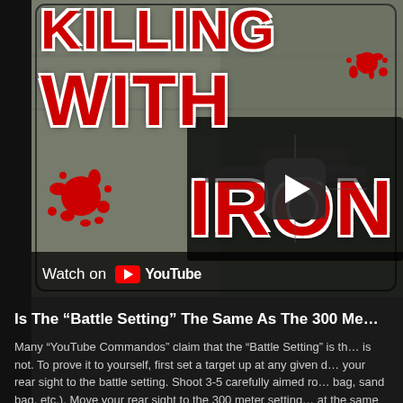[Figure (screenshot): YouTube video thumbnail showing bold red text 'KILLING WITH IRON' on a gray textured background with blood splatters, with a YouTube play button overlay and 'Watch on YouTube' bar at the bottom]
Is The “Battle Setting” The Same As The 300 Me...
Many “YouTube Commandos” claim that the “Battle Setting” is th... is not. To prove it to yourself, first set a target up at any given d... your rear sight to the battle setting. Shoot 3-5 carefully aimed ro... bag, sand bag, etc.). Move your rear sight to the 300 meter setting... at the same aiming point as before. Your two groups will not hit t...